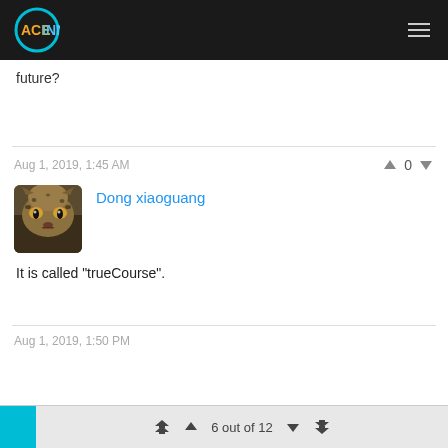ACEINNA
future?
Aug 1, 2019, 1:45 AM
Dong xiaoguang
[Figure (photo): Avatar photo of a cheetah face close-up]
It is called "trueCourse".
6 out of 12